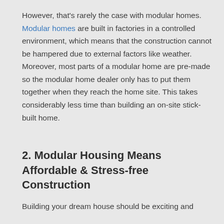However, that's rarely the case with modular homes. Modular homes are built in factories in a controlled environment, which means that the construction cannot be hampered due to external factors like weather. Moreover, most parts of a modular home are pre-made so the modular home dealer only has to put them together when they reach the home site. This takes considerably less time than building an on-site stick-built home.
2. Modular Housing Means Affordable & Stress-free Construction
Building your dream house should be exciting and